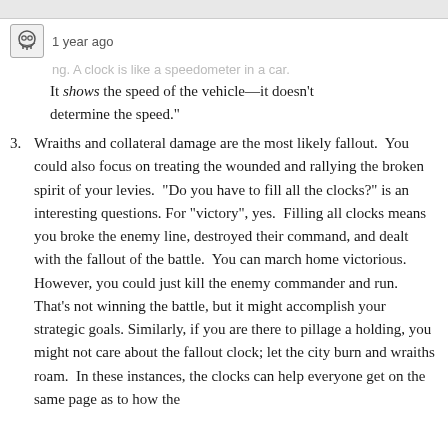[Figure (other): User avatar icon — small skull/robot icon in a box]
1 year ago
It shows the speed of the vehicle—it doesn't determine the speed."
3. Wraiths and collateral damage are the most likely fallout.  You could also focus on treating the wounded and rallying the broken spirit of your levies.  "Do you have to fill all the clocks?" is an interesting questions.  For "victory", yes.  Filling all clocks means you broke the enemy line, destroyed their command, and dealt with the fallout of the battle.  You can march home victorious.  However, you could just kill the enemy commander and run.  That's not winning the battle, but it might accomplish your strategic goals.  Similarly, if you are there to pillage a holding, you might not care about the fallout clock; let the city burn and wraiths roam.  In these instances, the clocks can help everyone get on the same page as to how the